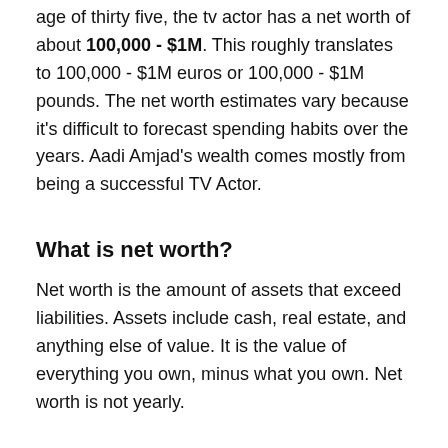age of thirty five, the tv actor has a net worth of about 100,000 - $1M. This roughly translates to 100,000 - $1M euros or 100,000 - $1M pounds. The net worth estimates vary because it's difficult to forecast spending habits over the years. Aadi Amjad's wealth comes mostly from being a successful TV Actor.
What is net worth?
Net worth is the amount of assets that exceed liabilities. Assets include cash, real estate, and anything else of value. It is the value of everything you own, minus what you own. Net worth is not yearly.